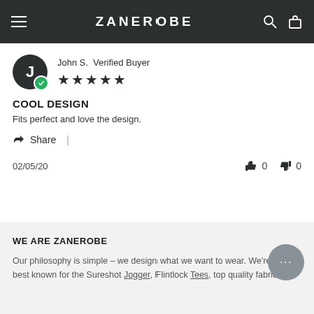ZANEROBE
John S. Verified Buyer ★★★★★
COOL DESIGN
Fits perfect and love the design.
Share |
02/05/20   👍 0   👎 0
WE ARE ZANEROBE
Our philosophy is simple – we design what we want to wear. We're best known for the Sureshot Jogger, Flintlock Tees, top quality fabric,